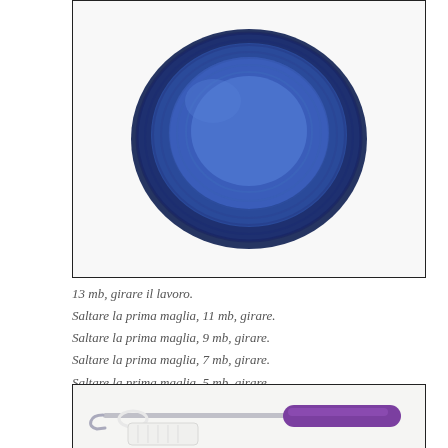[Figure (photo): A crocheted circular piece in blue yarn, showing two shades of blue, photographed on a white background.]
13 mb, girare il lavoro.
Saltare la prima maglia, 11 mb, girare.
Saltare la prima maglia, 9 mb, girare.
Saltare la prima maglia, 7 mb, girare.
Saltare la prima maglia, 5 mb, girare.
Saltare la prima maglia, 3 mb, girare.
Saltare la prima maglia, 1 mb, girare.
[Figure (photo): A crochet hook with a purple handle holding white yarn and a crocheted white piece, photographed on a white background.]